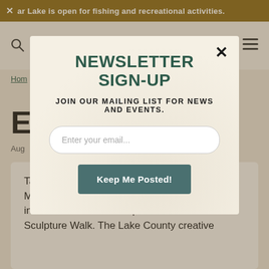✕ ar Lake is open for fishing and recreational activities.
[Figure (logo): Lake County California logo with location pin icon and stylized script text]
Hom
Eco
Aug
Taking cues from land art and folk traditions, Middletown artists turn a humble regional park into an immersive art experience at EcoArts Sculpture Walk. The Lake County creative
NEWSLETTER SIGN-UP
JOIN OUR MAILING LIST FOR NEWS AND EVENTS.
Enter your email...
Keep Me Posted!